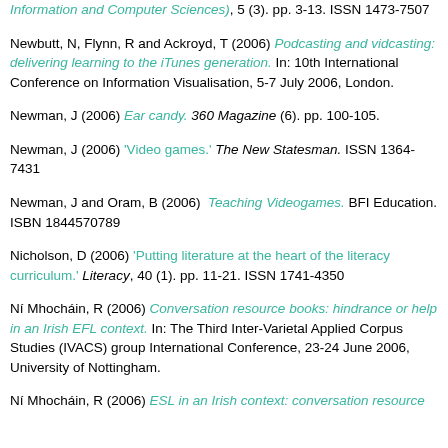Information and Computer Sciences), 5 (3). pp. 3-13. ISSN 1473-7507
Newbutt, N, Flynn, R and Ackroyd, T (2006) Podcasting and vidcasting: delivering learning to the iTunes generation. In: 10th International Conference on Information Visualisation, 5-7 July 2006, London.
Newman, J (2006) Ear candy. 360 Magazine (6). pp. 100-105.
Newman, J (2006) 'Video games.' The New Statesman. ISSN 1364-7431
Newman, J and Oram, B (2006) Teaching Videogames. BFI Education. ISBN 1844570789
Nicholson, D (2006) 'Putting literature at the heart of the literacy curriculum.' Literacy, 40 (1). pp. 11-21. ISSN 1741-4350
Ní Mhocháin, R (2006) Conversation resource books: hindrance or help in an Irish EFL context. In: The Third Inter-Varietal Applied Corpus Studies (IVACS) group International Conference, 23-24 June 2006, University of Nottingham.
Ní Mhocháin, R (2006) ESL in an Irish context: conversation resource...